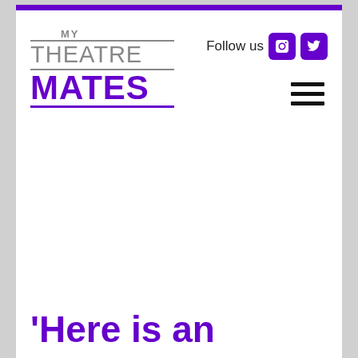[Figure (logo): My Theatre Mates logo with 'MY' in grey, 'THEATRE' in grey with top and bottom borders, 'MATES' in bold purple with underline]
Follow us
'Here is an